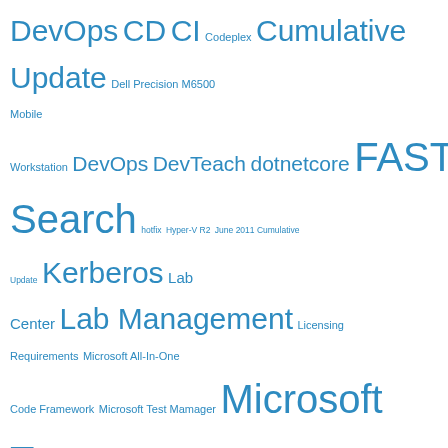[Figure (infographic): Tag cloud with technology-related terms in varying sizes, all in blue color. Larger tags indicate higher frequency/importance: DevOps, CD, CI, Codeplex, Cumulative Update, Dell Precision M6500, Mobile Workstation, DevTeach, dotnetcore, FAST Search, hotfix, Hyper-V R2, June 2011 Cumulative Update, Kerberos, Lab Center, Lab Management, Licensing Requirements, Microsoft All-In-One Code Framework, Microsoft Test Manager, MSBuild 4.0, Network Isolation, NuGet, Powershell, Pyxis, QRServer, Rangers Build Customization Guide, Release Management, Rogers, rollup, Samsung Focus, SCVMM 2008 R2, Selenium, Service Pack 1, SharePoint 2010, SharePoint 2010 FAST, SharePoint Server 2010, SonarQube, SonarSource, System Center Operations Manager 2007, System Center Virtual Machine Manager, System Center Virtual Machine Manager 2008 R2, Team Build 2010, Team Explorer 2010, Team]